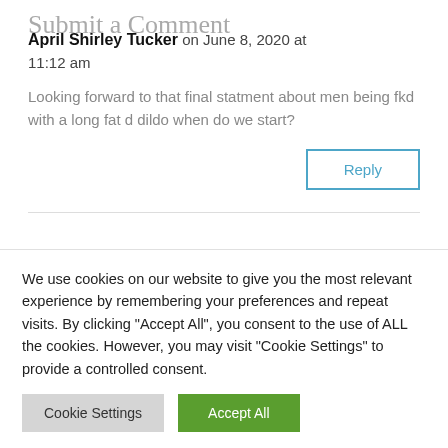April Shirley Tucker on June 8, 2020 at 11:12 am
Looking forward to that final statment about men being fkd with a long fat d dildo when do we start?
Reply
Submit a Comment
We use cookies on our website to give you the most relevant experience by remembering your preferences and repeat visits. By clicking "Accept All", you consent to the use of ALL the cookies. However, you may visit "Cookie Settings" to provide a controlled consent.
Cookie Settings
Accept All